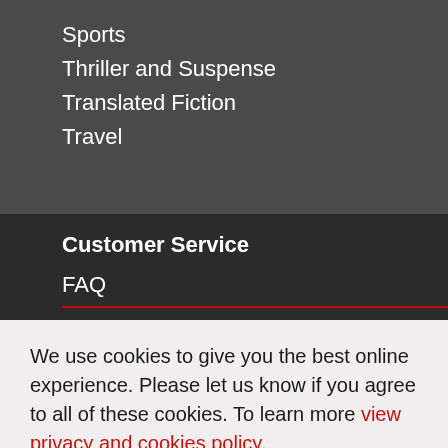Sports
Thriller and Suspense
Translated Fiction
Travel
Customer Service
FAQ
We use cookies to give you the best online experience. Please let us know if you agree to all of these cookies. To learn more view privacy and cookies policy.
Accept Cookies